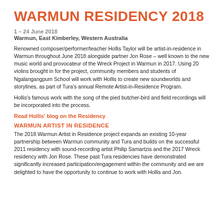WARMUN RESIDENCY 2018
1 – 24 June 2018
Warmun, East Kimberley, Western Australia
Renowned composer/performer/teacher Hollis Taylor will be artist-in-residence in Warmun throughout June 2018 alongside partner Jon Rose – well known to the new music world and provocateur of the Wreck Project in Warmun in 2017. Using 20 violins brought in for the project, community members and students of Ngalangangpum School will work with Hollis to create new soundworlds and storylines, as part of Tura's annual Remote Artist-in-Residence Program.
Hollis's famous work with the song of the pied butcher-bird and field recordings will be incorporated into the process.
Read Hollis' blog on the Residency
WARMUN ARTIST IN RESIDENCE
The 2018 Warmun Artist in Residence project expands an existing 10-year partnership between Warmun community and Tura and builds on the successful 2011 residency with sound-recording artist Philip Samartzis and the 2017 Wreck residency with Jon Rose. These past Tura residencies have demonstrated significantly increased participation/engagement within the community and we are delighted to have the opportunity to continue to work with Hollis and Jon.